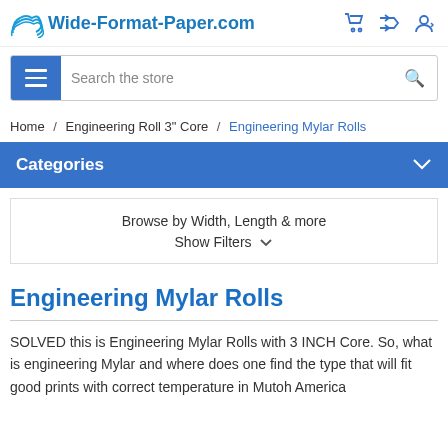Wide-Format-Paper.com
Search the store
Home / Engineering Roll 3" Core / Engineering Mylar Rolls
Categories
Browse by Width, Length & more
Show Filters
Engineering Mylar Rolls
SOLVED this is Engineering Mylar Rolls with 3 INCH Core. So, what is engineering Mylar and where does one find the type that will fit good prints with correct temperature in Mutoh America